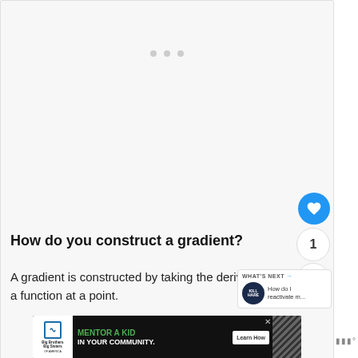[Figure (screenshot): Loading placeholder area with three gray dots centered at top of content region]
How do you construct a gradient?
A gradient is constructed by taking the derivative of a function at a point.
[Figure (infographic): WHAT'S NEXT panel with KillHare badge and link text: How do I reactivate m...]
[Figure (infographic): Advertisement banner: Big Brothers Big Sisters - MENTOR A KID IN YOUR COMMUNITY. Learn How button.]